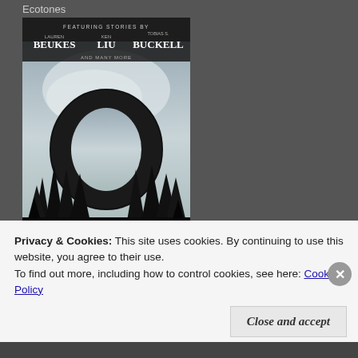Ecotones
[Figure (illustration): Book cover for 'Ecotones: Ecological Stories from the Border Between Fantasy and Science Fiction'. Features a large black ring/torus shape against a misty forest background with tall dark pine trees. Text at top reads 'FEATURING STORIES BY LAUREN BEUKES, KEN LIU, TOBIAS S. BUCKELL AND MANY MORE'. Title 'ECOTONES' in large green letters at bottom. Subtitle: 'Ecological Stories from the Border Between Fantasy and Science Fiction'. Black and white/green color scheme.]
Privacy & Cookies: This site uses cookies. By continuing to use this website, you agree to their use.
To find out more, including how to control cookies, see here: Cookie Policy
Close and accept